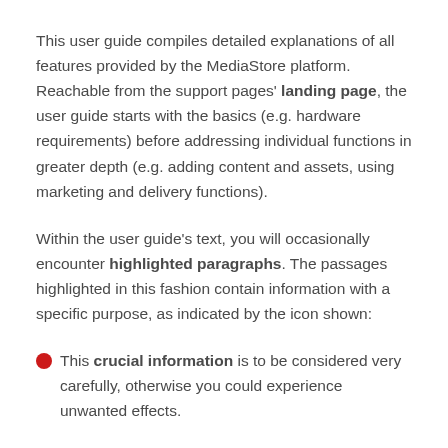This user guide compiles detailed explanations of all features provided by the MediaStore platform. Reachable from the support pages' landing page, the user guide starts with the basics (e.g. hardware requirements) before addressing individual functions in greater depth (e.g. adding content and assets, using marketing and delivery functions).
Within the user guide's text, you will occasionally encounter highlighted paragraphs. The passages highlighted in this fashion contain information with a specific purpose, as indicated by the icon shown:
This crucial information is to be considered very carefully, otherwise you could experience unwanted effects.